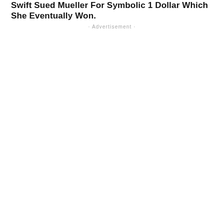Swift Sued Mueller For Symbolic 1 Dollar Which She Eventually Won.
· Advertisement ·